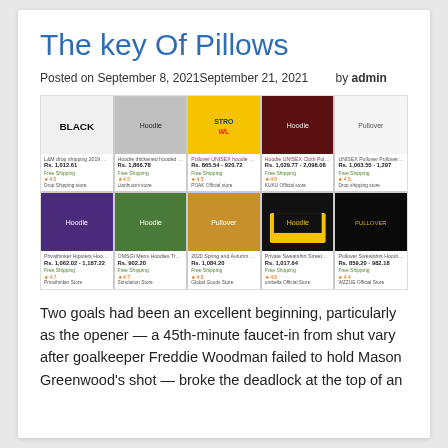The key Of Pillows
Posted on September 8, 2021September 21, 2021    by admin
[Figure (screenshot): A product grid showing 10 hoodie/sweatshirt products in 2 rows of 5, each with a product image, name, price in Rs., shipping info, rating, and store name. Products include various hoodies in black, yellow, maroon, white, purple, olive, tan, and black colorways.]
Two goals had been an excellent beginning, particularly as the opener — a 45th-minute faucet-in from shut vary after goalkeeper Freddie Woodman failed to hold Mason Greenwood's shot — broke the deadlock at the top of an